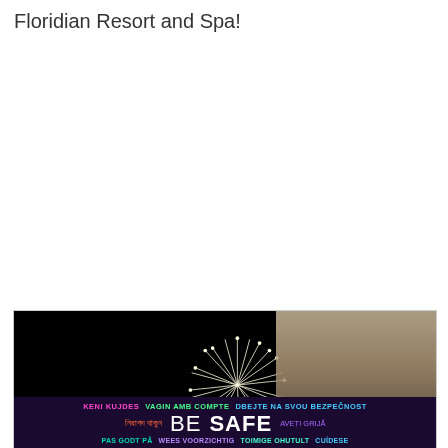Floridian Resort and Spa!
[Figure (photo): Photo of fireworks against a dark night sky, partially overlapping a sepia-toned image. Below the photo is a multilingual 'BE SAFE' banner with text in multiple languages and colors including pink, green, cyan, purple, and white.]